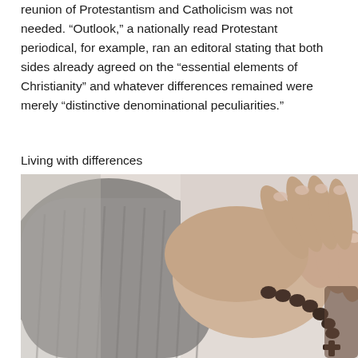reunion of Protestantism and Catholicism was not needed. “Outlook,” a nationally read Protestant periodical, for example, ran an editoral stating that both sides already agreed on the “essential elements of Christianity” and whatever differences remained were merely “distinctive denominational peculiarities.”
Living with differences
[Figure (photo): Close-up photograph of two pairs of hands clasped together in prayer, with one person wearing a grey knit sweater sleeve. A dark wooden rosary with a cross is held between the hands, resting on what appears to be a white book or surface.]